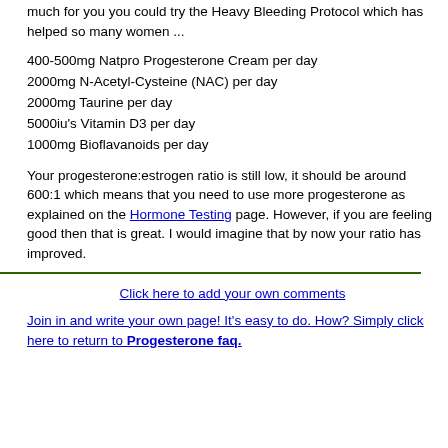much for you you could try the Heavy Bleeding Protocol which has helped so many women ...
400-500mg Natpro Progesterone Cream per day
2000mg N-Acetyl-Cysteine (NAC) per day
2000mg Taurine per day
5000iu's Vitamin D3 per day
1000mg Bioflavanoids per day
Your progesterone:estrogen ratio is still low, it should be around 600:1 which means that you need to use more progesterone as explained on the Hormone Testing page. However, if you are feeling good then that is great. I would imagine that by now your ratio has improved.
Click here to add your own comments
Join in and write your own page! It's easy to do. How? Simply click here to return to Progesterone faq.